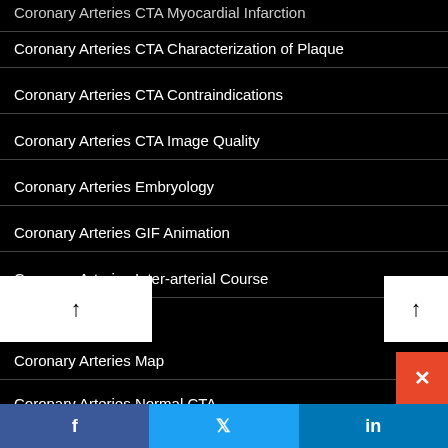Coronary Arteries CTA Myocardial Infarction
Coronary Arteries CTA Characterization of Plaque
Coronary Arteries CTA Contraindications
Coronary Arteries CTA Image Quality
Coronary Arteries Embryology
Coronary Arteries GIF Animation
Coronary Arteries Inter-arterial Course
Coronary Arteries Map
Coronary Arteries Normal CTA
Coronary Arteries therapeutic and interventional options
Coronary Artery Anatomy – CT – Anterior Septal Arteries
Coronary Artery Anatomy – CT – Conal Artery